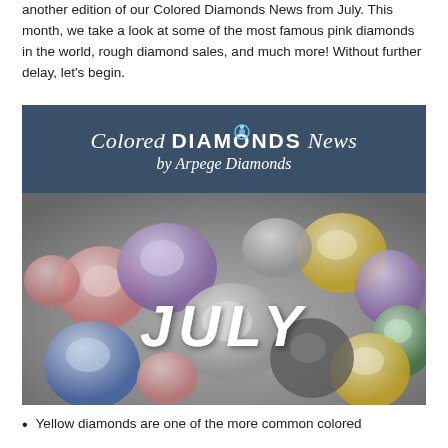another edition of our Colored Diamonds News from July. This month, we take a look at some of the most famous pink diamonds in the world, rough diamond sales, and much more! Without further delay, let's begin.
[Figure (photo): Colored Diamonds News by Arpege Diamonds banner image for July, showing a header with the newsletter title in white text on a dark blue background, and below it a photo of various colored gemstone diamonds arranged together with the word JULY overlaid in large white italic text.]
Yellow diamonds are one of the more common colored